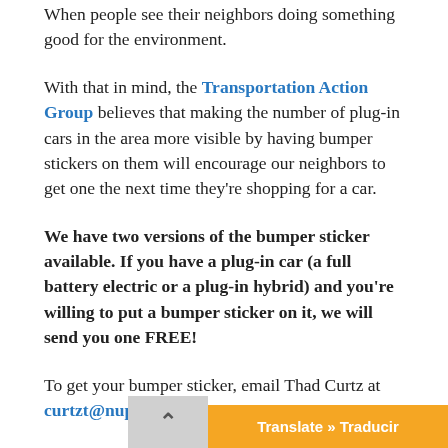When people see their neighbors doing something good for the environment.
With that in mind, the Transportation Action Group believes that making the number of plug-in cars in the area more visible by having bumper stickers on them will encourage our neighbors to get one the next time they're shopping for a car.
We have two versions of the bumper sticker available. If you have a plug-in car (a full battery electric or a plug-in hybrid) and you're willing to put a bumper sticker on it, we will send you one FREE!
To get your bumper sticker, email Thad Curtz at curtzt@nuprometheus.com